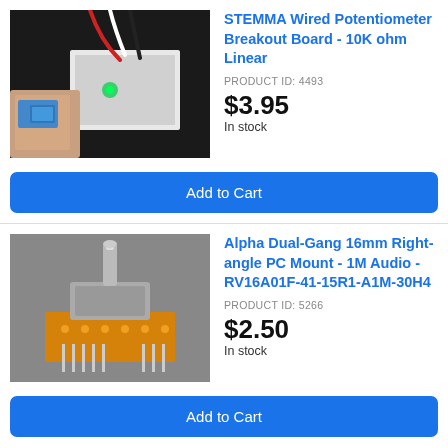[Figure (photo): Photo of STEMMA Wired Potentiometer Breakout Board connected to a breadboard with colorful wires, green LED lit, hand holding blue component]
STEMMA Wired Potentiometer Breakout Board - 10K ohm Linear
PRODUCT ID: 4493
$3.95
In stock
Add to Cart
[Figure (photo): Photo of Alpha Dual-Gang 16mm Right-angle PC Mount potentiometer on orange PCB with metal shaft and multiple pins, gray background]
Alpha Dual-Gang 16mm Right-angle PC Mount - 1M Audio - RV16A01F-41-15R1-A1M-30H4
PRODUCT ID: 5266
$2.50
In stock
Add to Cart